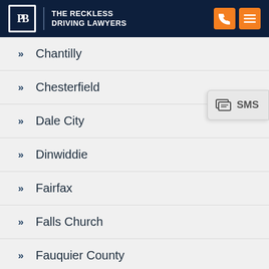THE RECKLESS DRIVING LAWYERS
Chantilly
Chesterfield
Dale City
Dinwiddie
Fairfax
Falls Church
Fauquier County
Haymarket
Leesburg